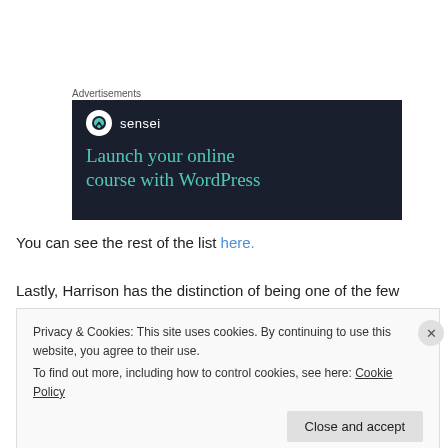Advertisements
[Figure (illustration): Advertisement banner for Sensei plugin with dark navy background. Shows Sensei logo (circle with tree icon and 'sensei' text) and teal-colored headline text reading 'Launch your online course with WordPress']
You can see the rest of the list here.
Lastly, Harrison has the distinction of being one of the few
Privacy & Cookies: This site uses cookies. By continuing to use this website, you agree to their use.
To find out more, including how to control cookies, see here: Cookie Policy
Close and accept